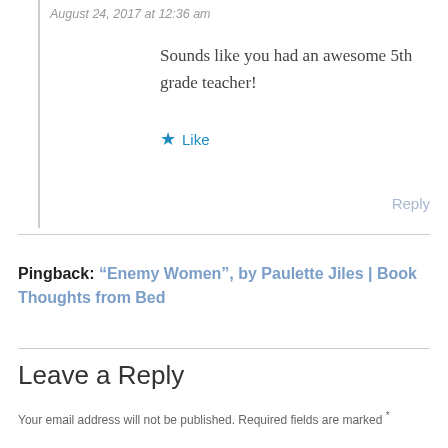August 24, 2017 at 12:36 am
Sounds like you had an awesome 5th grade teacher!
Like
Reply
Pingback: “Enemy Women”, by Paulette Jiles | Book Thoughts from Bed
Leave a Reply
Your email address will not be published. Required fields are marked *